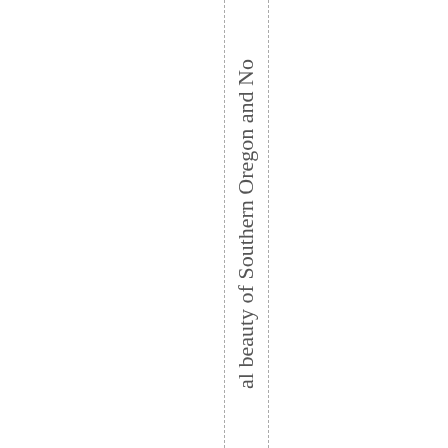al beauty of Southern Oregon and No